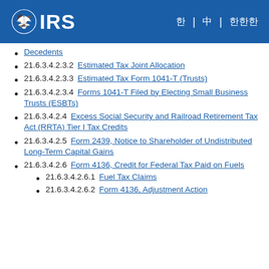IRS
21.6.3.4.2.3.2 Estimated Tax Joint Allocation
21.6.3.4.2.3.3 Estimated Tax Form 1041-T (Trusts)
21.6.3.4.2.3.4 Forms 1041-T Filed by Electing Small Business Trusts (ESBTs)
21.6.3.4.2.4 Excess Social Security and Railroad Retirement Tax Act (RRTA) Tier I Tax Credits
21.6.3.4.2.5 Form 2439, Notice to Shareholder of Undistributed Long-Term Capital Gains
21.6.3.4.2.6 Form 4136, Credit for Federal Tax Paid on Fuels
21.6.3.4.2.6.1 Fuel Tax Claims
21.6.3.4.2.6.2 Form 4136, Adjustment Action